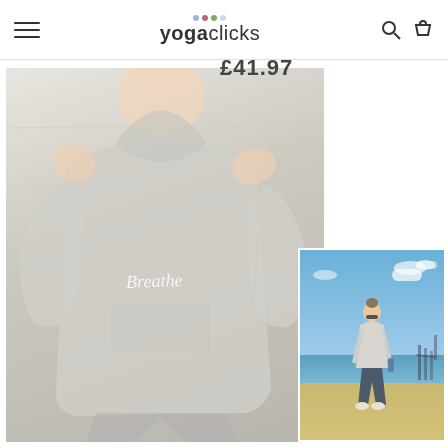yogaclicks
£41.97
[Figure (photo): Woman wearing a light grey 'Breathe' hoodie, standing against a wood-plank wall background, smiling with hands raised]
[Figure (photo): Woman wearing grey hoodie walking on a sunny beach with blue sky, sand and ocean in background]